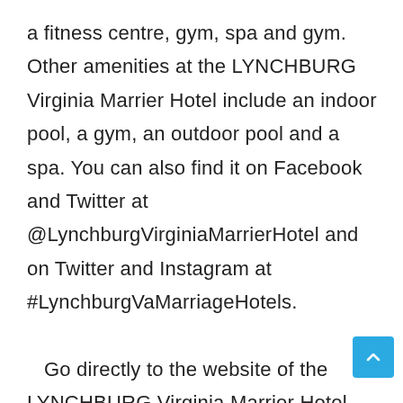a fitness centre, gym, spa and gym. Other amenities at the LYNCHBURG Virginia Marrier Hotel include an indoor pool, a gym, an outdoor pool and a spa. You can also find it on Facebook and Twitter at @LynchburgVirginiaMarrierHotel and on Twitter and Instagram at #LynchburgVaMarriageHotels.

   Go directly to the website of the LYNCHBURG Virginia Marrier Hotel and search for "Lynchburg VirginiaMarriage Hotel" in the search box on the right.